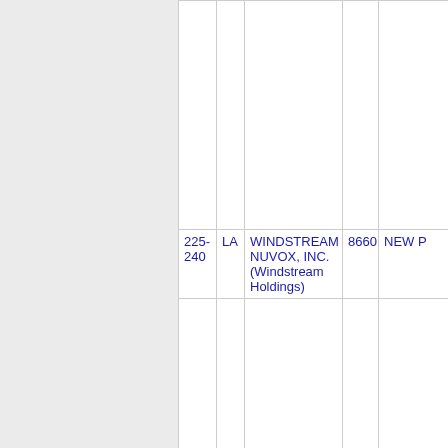|  | LA | WINDSTREAM NUVOX, INC. (Windstream Holdings) | 8660 | NEW P... |
| --- | --- | --- | --- | --- |
| 225-240 | LA | WINDSTREAM NUVOX, INC. (Windstream Holdings) | 8660 | NEW P... |